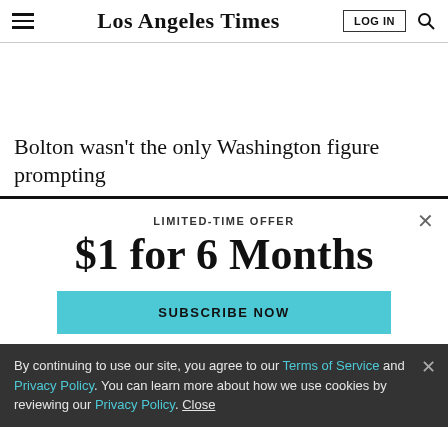Los Angeles Times
Bolton wasn’t the only Washington figure prompting
LIMITED-TIME OFFER
$1 for 6 Months
SUBSCRIBE NOW
By continuing to use our site, you agree to our Terms of Service and Privacy Policy. You can learn more about how we use cookies by reviewing our Privacy Policy. Close